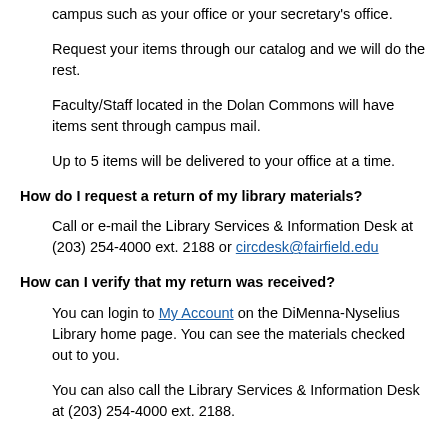campus such as your office or your secretary's office.
Request your items through our catalog and we will do the rest.
Faculty/Staff located in the Dolan Commons will have items sent through campus mail.
Up to 5 items will be delivered to your office at a time.
How do I request a return of my library materials?
Call or e-mail the Library Services & Information Desk at (203) 254-4000 ext. 2188 or circdesk@fairfield.edu
How can I verify that my return was received?
You can login to My Account on the DiMenna-Nyselius Library home page. You can see the materials checked out to you.
You can also call the Library Services & Information Desk at (203) 254-4000 ext. 2188.